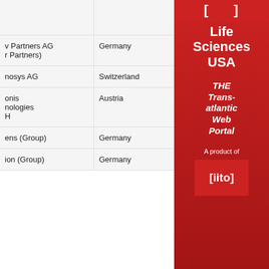| Company | Country |
| --- | --- |
|  |  |
| v Partners AG
r Partners) | Germany |
| nosys AG | Switzerland |
| onis
nologies
H | Austria |
| ens (Group) | Germany |
| ion (Group) | Germany |
[Figure (other): Life Sciences USA - THE Trans-atlantic Web Portal. A product of [iito] logo. Red sidebar advertisement.]